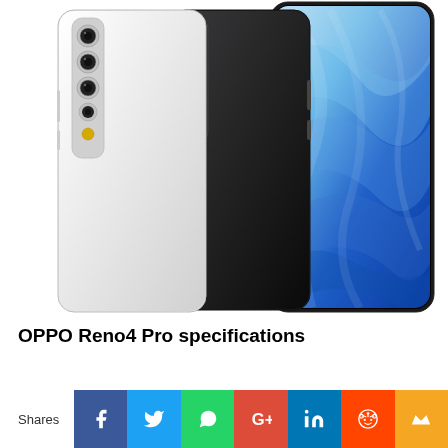[Figure (photo): Three OPPO Reno4 Pro smartphones shown from behind and front — white, dark gray/black, and a blue-lit front display variant — arranged overlapping each other, each showing a multi-camera vertical strip on the rear.]
OPPO Reno4 Pro specifications
Shares
[Figure (infographic): Social sharing buttons row: Facebook (blue), Twitter (light blue), WhatsApp (green), Google+ (red-orange), LinkedIn (blue), Reddit (orange-red), Bookmark/King crown (orange-yellow)]